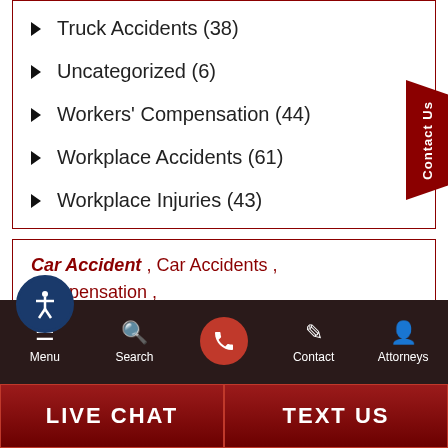Truck Accidents (38)
Uncategorized (6)
Workers' Compensation (44)
Workplace Accidents (61)
Workplace Injuries (43)
Car Accident , Car Accidents , Compensation , Construction Workers' Accidents , Construction accident , Damages , Illinois ,
Menu  Search  Contact  Attorneys  LIVE CHAT  TEXT US